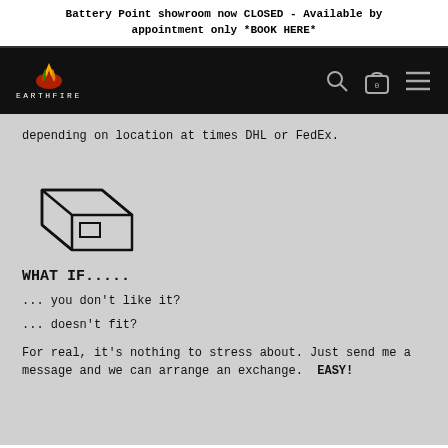Battery Point showroom now CLOSED - Available by appointment only *BOOK HERE*
[Figure (logo): Earthfire logo with flame graphic and text EARTHFIRE on black navigation bar]
depending on location at times DHL or FedEx.
[Figure (illustration): Line drawing icon of a cardboard shipping box]
WHAT IF.....
... you don't like it?
... doesn't fit?
For real, it's nothing to stress about. Just send me a message and we can arrange an exchange.  EASY!